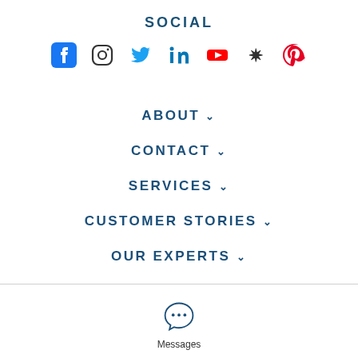SOCIAL
[Figure (infographic): Social media icons: Facebook (blue), Instagram (black), Twitter (blue), LinkedIn (blue), YouTube (red), Yelp (black), Pinterest (red)]
ABOUT ▾
CONTACT ▾
SERVICES ▾
CUSTOMER STORIES ▾
OUR EXPERTS ▾
[Figure (illustration): Chat bubble icon with three dots (ellipsis) inside]
Messages